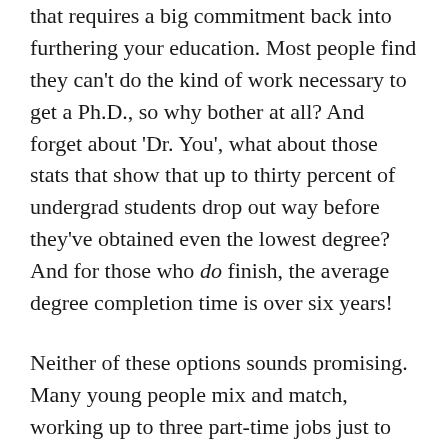that requires a big commitment back into furthering your education. Most people find they can't do the kind of work necessary to get a Ph.D., so why bother at all? And forget about 'Dr. You', what about those stats that show that up to thirty percent of undergrad students drop out way before they've obtained even the lowest degree? And for those who do finish, the average degree completion time is over six years!
Neither of these options sounds promising. Many young people mix and match, working up to three part-time jobs just to pay for school. And then, if you are going to take the plunge, paying for it is just one challenge. What, exactly, are you going to be paying for?